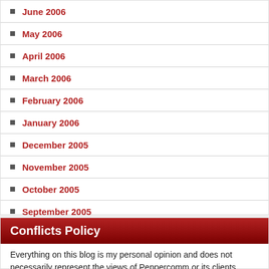June 2006
May 2006
April 2006
March 2006
February 2006
January 2006
December 2005
November 2005
October 2005
September 2005
August 2005
July 2005
Conflicts Policy
Everything on this blog is my personal opinion and does not necessarily represent the views of Peppercomm or its clients. Some posts may contain references to businesses or people the Peppercomm or its clients work with or have